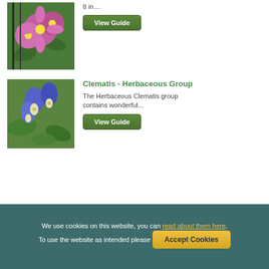[Figure (photo): Pink clematis flowers climbing on a trellis]
8 in....
View Guide
[Figure (photo): Purple/blue herbaceous clematis flowers with green foliage]
Clematis - Herbaceous Group
The Herbaceous Clematis group contains wonderful...
View Guide
We use cookies on this website, you can read about them here. To use the website as intended please
Accept Cookies